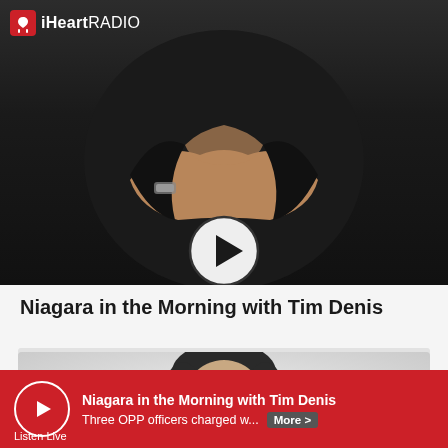[Figure (photo): iHeartRadio branded page showing a person with arms crossed in dark clothing at top, with a circular play button overlay. Below is a headshot photo of Tim Denis, a man with dark hair and goatee smiling, against a light grey background.]
Niagara in the Morning with Tim Denis
Niagara in the Morning with Tim Denis
Three OPP officers charged w...
More >
Listen Live